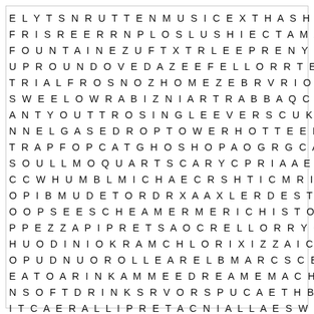[Figure (other): Word search puzzle grid with 22 rows and 34 columns of uppercase letters arranged in a monospaced grid inside a bordered rectangle.]